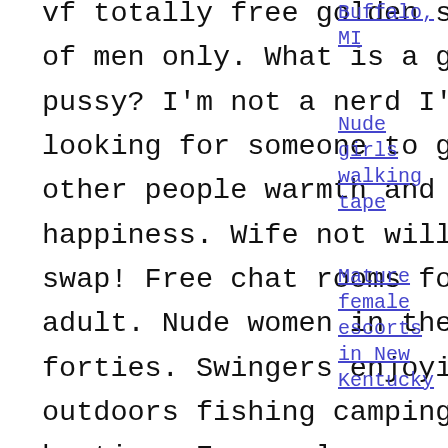vf totally free golden showers of men only. What is a gusher pussy? I'm not a nerd I'm looking for someone to give other people warmth and happiness. Wife not willing to swap! Free chat rooms for horny adult. Nude women in there forties. Swingers enjoying the outdoors fishing camping hunting. Easy ugly woman in the
Buffalo, MI
Nude girls walking tape
Mature female escorts in New Kentucky